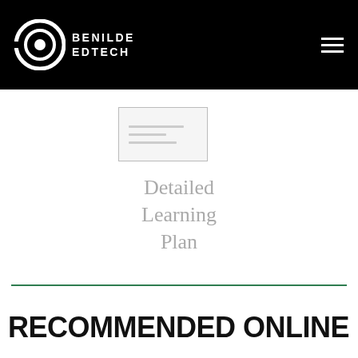BENILDE EDTECH
[Figure (screenshot): Small thumbnail image of a document page with lines indicating content]
Detailed Learning Plan
RECOMMENDED ONLINE